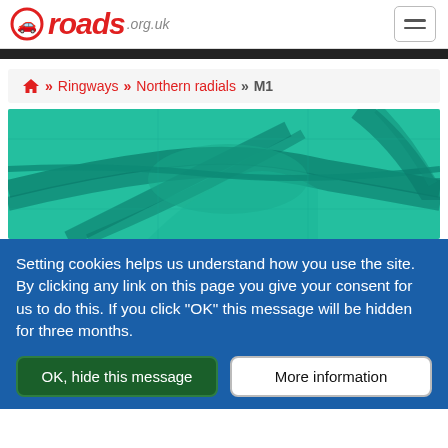roads.org.uk
» Ringways » Northern radials » M1
[Figure (photo): Aerial teal-tinted photograph of a motorway interchange with curving road lanes]
Setting cookies helps us understand how you use the site. By clicking any link on this page you give your consent for us to do this. If you click "OK" this message will be hidden for three months.
OK, hide this message
More information